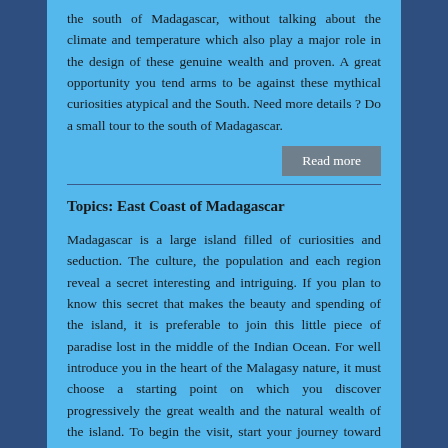the south of Madagascar, without talking about the climate and temperature which also play a major role in the design of these genuine wealth and proven. A great opportunity you tend arms to be against these mythical curiosities atypical and the South. Need more details ? Do a small tour to the south of Madagascar.
Read more
Topics: East Coast of Madagascar
Madagascar is a large island filled of curiosities and seduction. The culture, the population and each region reveal a secret interesting and intriguing. If you plan to know this secret that makes the beauty and spending of the island, it is preferable to join this little piece of paradise lost in the middle of the Indian Ocean. For well introduce you in the heart of the Malagasy nature, it must choose a starting point on which you discover progressively the great wealth and the natural wealth of the island. To begin the visit, start your journey toward the East. The Treasures from this part of the great island without talk of